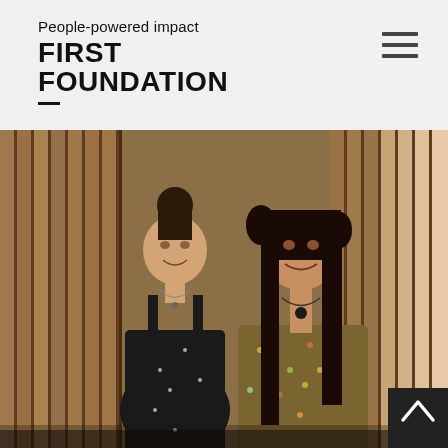People-powered impact
FIRST FOUNDATION
[Figure (photo): Two young women standing side by side in front of a wooden slatted wall background, both smiling. The woman on the left has her hair in a bun and is wearing a black dress. The woman on the right has long dark hair and is wearing a floral print jacket.]